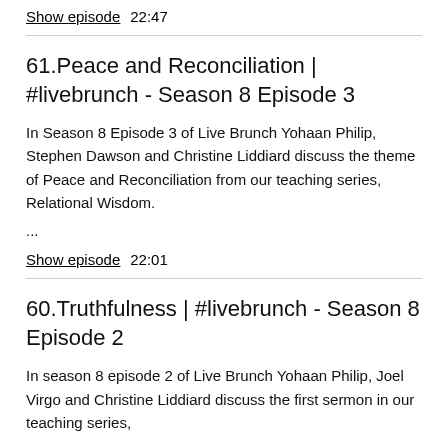Show episode  22:47
61.Peace and Reconciliation | #livebrunch - Season 8 Episode 3
In Season 8 Episode 3 of Live Brunch Yohaan Philip, Stephen Dawson and Christine Liddiard discuss the theme of Peace and Reconciliation from our teaching series, Relational Wisdom.
...
Show episode  22:01
60.Truthfulness | #livebrunch - Season 8 Episode 2
In season 8 episode 2 of Live Brunch Yohaan Philip, Joel Virgo and Christine Liddiard discuss the first sermon in our teaching series,